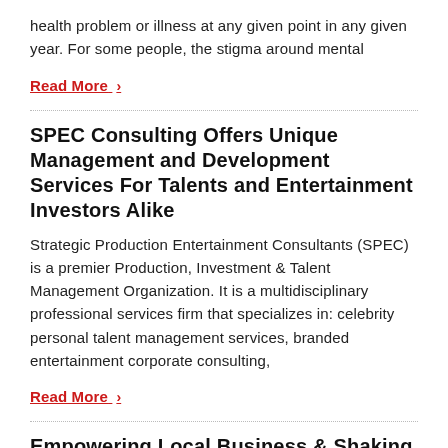health problem or illness at any given point in any given year. For some people, the stigma around mental
Read More ›
SPEC Consulting Offers Unique Management and Development Services For Talents and Entertainment Investors Alike
Strategic Production Entertainment Consultants (SPEC) is a premier Production, Investment & Talent Management Organization. It is a multidisciplinary professional services firm that specializes in: celebrity personal talent management services, branded entertainment corporate consulting,
Read More ›
Empowering Local Business & Shaking Local Ecommerce System – Hamiez mo